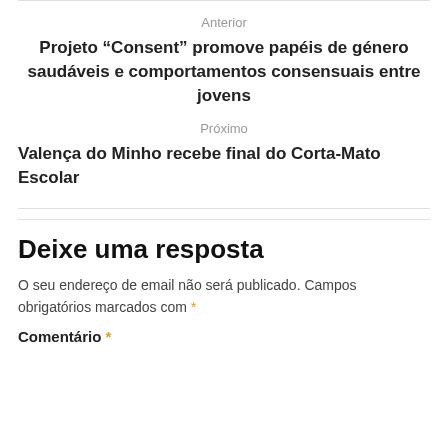Anterior
Projeto “Consent” promove papéis de género saudáveis e comportamentos consensuais entre jovens
Próximo
Valença do Minho recebe final do Corta-Mato Escolar
Deixe uma resposta
O seu endereço de email não será publicado. Campos obrigatórios marcados com *
Comentário *